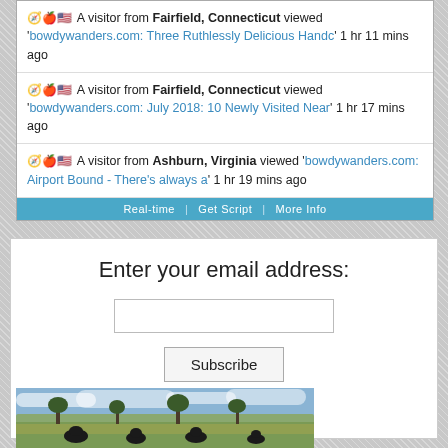🧭🍎🇺🇸 A visitor from Fairfield, Connecticut viewed 'bowdywanders.com: Three Ruthlessly Delicious Handc' 1 hr 11 mins ago
🧭🍎🇺🇸 A visitor from Fairfield, Connecticut viewed 'bowdywanders.com: July 2018: 10 Newly Visited Near' 1 hr 17 mins ago
🧭🍎🇺🇸 A visitor from Ashburn, Virginia viewed 'bowdywanders.com: Airport Bound - There's always a' 1 hr 19 mins ago
Real-time | Get Script | More Info
Enter your email address:
Subscribe
Delivered by FeedBurner
[Figure (photo): Outdoor landscape photo showing a field with trees and cloudy sky, animals (possibly buffalo/wildebeest) in the foreground]